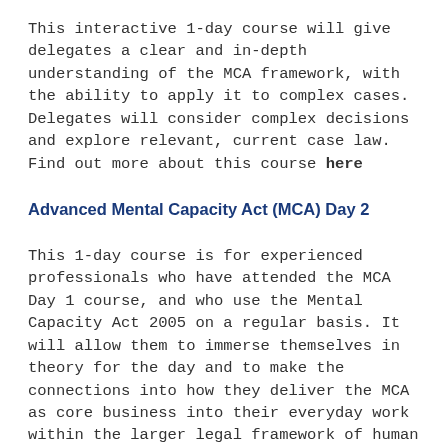This interactive 1-day course will give delegates a clear and in-depth understanding of the MCA framework, with the ability to apply it to complex cases. Delegates will consider complex decisions and explore relevant, current case law. Find out more about this course here
Advanced Mental Capacity Act (MCA) Day 2
This 1-day course is for experienced professionals who have attended the MCA Day 1 course, and who use the Mental Capacity Act 2005 on a regular basis. It will allow them to immerse themselves in theory for the day and to make the connections into how they deliver the MCA as core business into their everyday work within the larger legal framework of human rights. Find out more about this course here
Mental Capacity Act 2005 for Managers
This is a 1-day in-depth exploration of the duties and